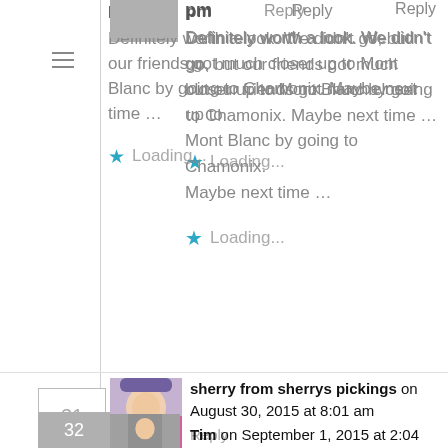pm   Reply
Definitely worth a look. We didn't go, but our friends got much closer up to Mont Blanc by going to Chamonix. Maybe next time …
Loading...
sherry from sherrys pickings on August 30, 2015 at 8:01 am
Reply
that is really stunning. so beautiful. i bet you had a great time away.
Loading...
Tim on September 1, 2015 at 2:04